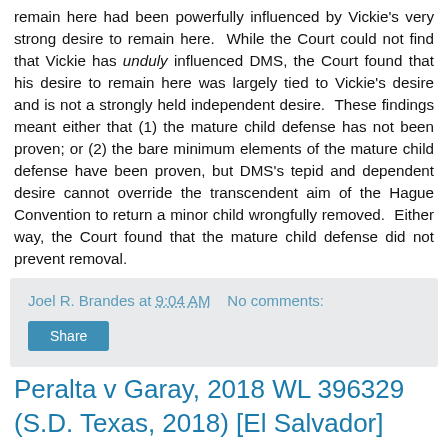remain here had been powerfully influenced by Vickie's very strong desire to remain here. While the Court could not find that Vickie has unduly influenced DMS, the Court found that his desire to remain here was largely tied to Vickie's desire and is not a strongly held independent desire. These findings meant either that (1) the mature child defense has not been proven; or (2) the bare minimum elements of the mature child defense have been proven, but DMS's tepid and dependent desire cannot override the transcendent aim of the Hague Convention to return a minor child wrongfully removed. Either way, the Court found that the mature child defense did not prevent removal.
Joel R. Brandes at 9:04 AM   No comments:
Share
Peralta v Garay, 2018 WL 396329 (S.D. Texas, 2018) [El Salvador] [Habitual Residence] [Petition